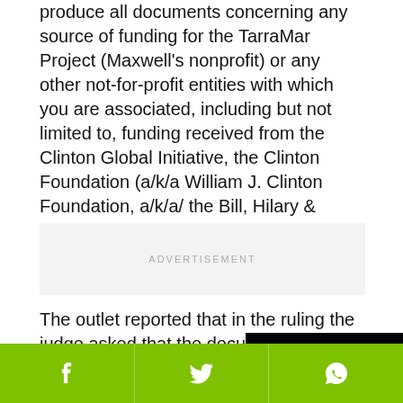produce all documents concerning any source of funding for the TarraMar Project (Maxwell's nonprofit) or any other not-for-profit entities with which you are associated, including but not limited to, funding received from the Clinton Global Initiative, the Clinton Foundation (a/k/a William J. Clinton Foundation, a/k/a/ the Bill, Hilary & Chelsea Clinton Foundation),and the Clinton Foundation Climate Change Initiative."
[Figure (other): Advertisement placeholder block with light gray background and 'ADVERTISEMENT' text]
The outlet reported that in the ruling the judge asked that the documents rela... for email accounts that M... from the court should al...
[Figure (screenshot): Black video player overlay partially visible on right side, with red play button triangle and loading spinner circle]
[Figure (other): Green social share bar at bottom with Facebook, Twitter, and WhatsApp icons]